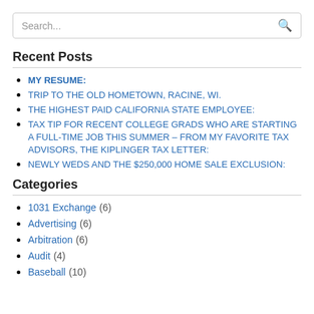[Figure (other): Search input box with placeholder text 'Search...' and a search icon]
Recent Posts
MY RESUME:
TRIP TO THE OLD HOMETOWN, RACINE, WI.
THE HIGHEST PAID CALIFORNIA STATE EMPLOYEE:
TAX TIP FOR RECENT COLLEGE GRADS WHO ARE STARTING A FULL-TIME JOB THIS SUMMER – FROM MY FAVORITE TAX ADVISORS, THE KIPLINGER TAX LETTER:
NEWLY WEDS AND THE $250,000 HOME SALE EXCLUSION:
Categories
1031 Exchange (6)
Advertising (6)
Arbitration (6)
Audit (4)
Baseball (10)